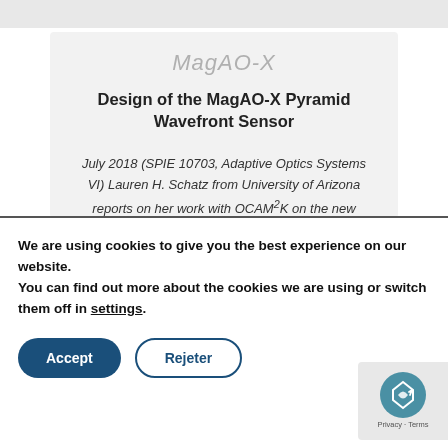Design of the MagAO-X Pyramid Wavefront Sensor
July 2018 (SPIE 10703, Adaptive Optics Systems VI) Lauren H. Schatz from University of Arizona reports on her work with OCAM²K on the new extreme Adaptive Optics instrument MagAO-X
Abstract: Adaptive optics systems correct
We are using cookies to give you the best experience on our website.
You can find out more about the cookies we are using or switch them off in settings.